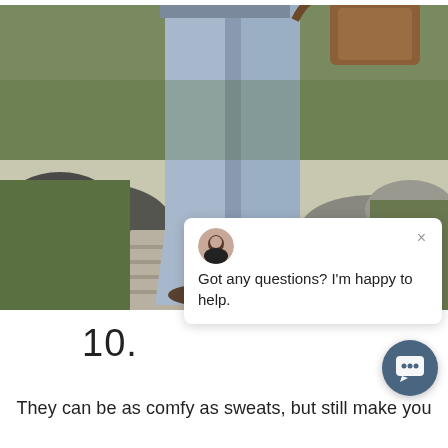[Figure (photo): Lower half of a person wearing light blue flare/bootcut jeans and sandals, standing on wooden boards outdoors surrounded by rocks and grass. A brown leather bag is visible at the top right.]
[Figure (screenshot): A chat popup widget with a female avatar photo, an X close button, and the text 'Got any questions? I'm happy to help.']
10.
They can be as comfy as sweats, but still make you